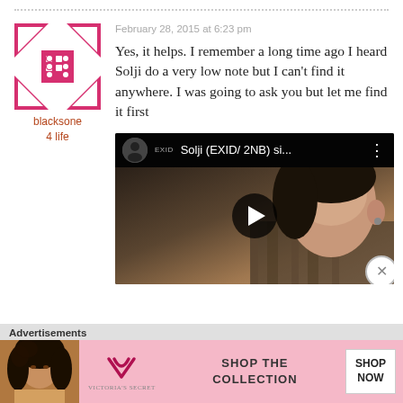February 28, 2015 at 6:23 pm
[Figure (illustration): Pink geometric avatar logo for user blacksone4life — a symmetrical pattern of pink arrow/diamond shapes pointing inward]
blacksone4life
Yes, it helps. I remember a long time ago I heard Solji do a very low note but I can't find it anywhere. I was going to ask you but let me find it first
[Figure (screenshot): Embedded YouTube video thumbnail showing 'Solji (EXID/ 2NB) si...' with a play button overlay, dark background with a woman's face]
Advertisements
[Figure (photo): Victoria's Secret advertisement banner with model, VS logo, text SHOP THE COLLECTION, and SHOP NOW button]